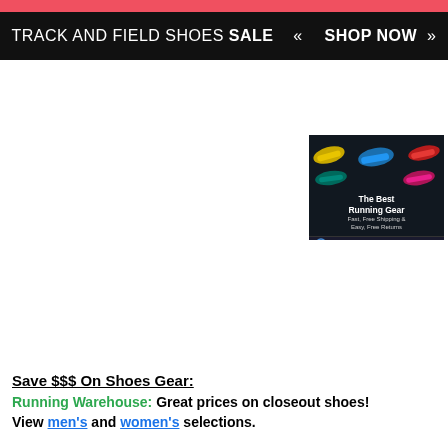[Figure (other): Red banner strip at top of page]
[Figure (other): Black banner with text: TRACK AND FIELD SHOES SALE << SHOP NOW >>]
[Figure (other): Running Warehouse advertisement showing running shoes with text: The Best Running Gear, Fast, Free Shipping & Easy, Free Returns, with RUNNING WAREHOUSE logo and SHOP NOW button]
Save $$$ On Shoes Gear:
Running Warehouse: Great prices on closeout shoes!
View men's and women's selections.